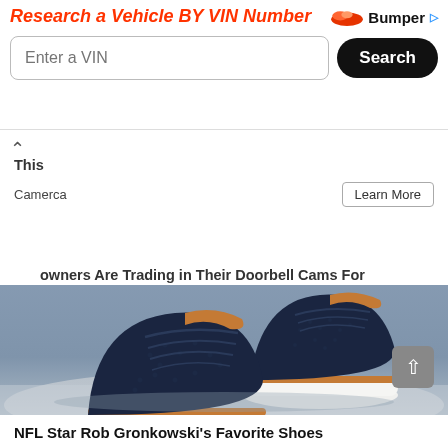[Figure (screenshot): Advertisement banner for Bumper.com VIN vehicle research tool with orange italic headline 'Research a Vehicle BY VIN Number', Bumper logo, VIN input field, and Search button]
owners Are Trading in Their Doorbell Cams For This
Camerca
Learn More
[Figure (photo): Product photo of a pair of dark navy blue casual sneakers/dress shoes with tan leather collar and stripe detail, white soles, displayed on a light blue-grey sandy surface]
NFL Star Rob Gronkowski's Favorite Shoes